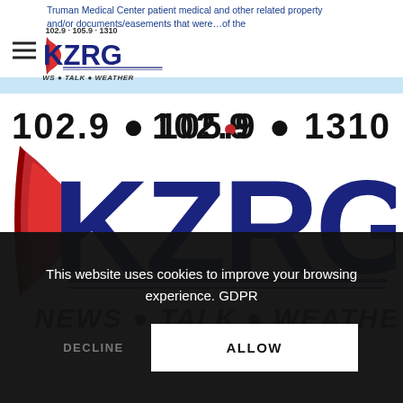KZRG 102.9 · 105.9 · 1310 News Talk Weather
[Figure (logo): KZRG radio station logo — 102.9 · 105.9 · 1310 with red swoosh and text NEWS · TALK · WEATHER in italic style, large version centered on white background]
This website uses cookies to improve your browsing experience. GDPR
DECLINE
ALLOW